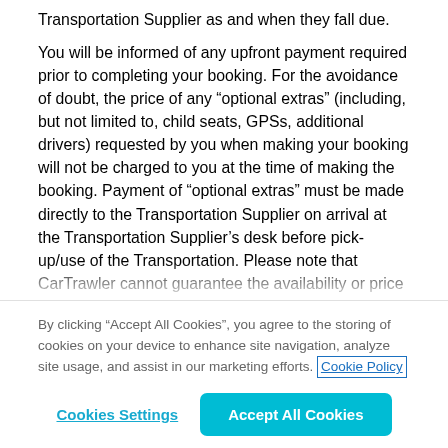Transportation Supplier as and when they fall due.

You will be informed of any upfront payment required prior to completing your booking. For the avoidance of doubt, the price of any “optional extras” (including, but not limited to, child seats, GPSs, additional drivers) requested by you when making your booking will not be charged to you at the time of making the booking. Payment of “optional extras” must be made directly to the Transportation Supplier on arrival at the Transportation Supplier’s desk before pick-up/use of the Transportation. Please note that CarTrawler cannot guarantee the availability or price of any “optional extras” requested.
By clicking “Accept All Cookies”, you agree to the storing of cookies on your device to enhance site navigation, analyze site usage, and assist in our marketing efforts. Cookie Policy